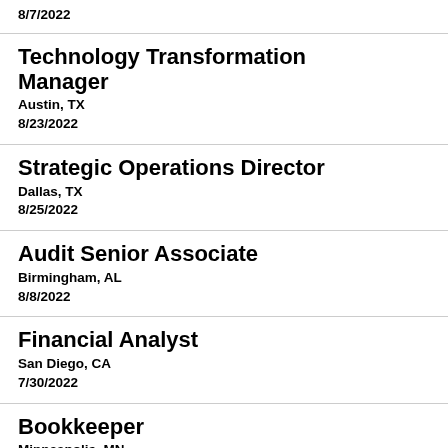8/7/2022
Technology Transformation Manager
Austin, TX
8/23/2022
Strategic Operations Director
Dallas, TX
8/25/2022
Audit Senior Associate
Birmingham, AL
8/8/2022
Financial Analyst
San Diego, CA
7/30/2022
Bookkeeper
Minneapolis, MN